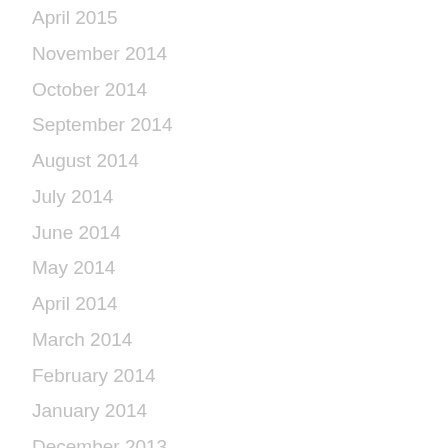April 2015
November 2014
October 2014
September 2014
August 2014
July 2014
June 2014
May 2014
April 2014
March 2014
February 2014
January 2014
December 2013
November 2013
October 2013
September 2013
July 2013